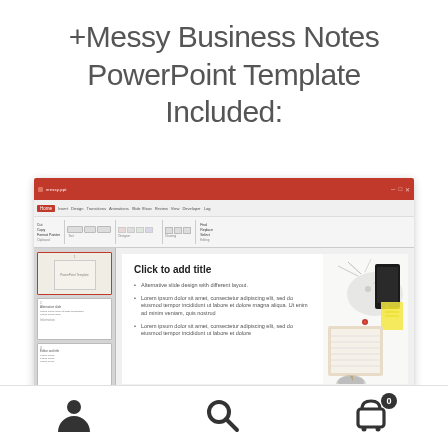+Messy Business Notes PowerPoint Template Included:
[Figure (screenshot): Screenshot of Microsoft PowerPoint showing a 'Messy Business Notes' template. The interface shows the red title bar, ribbon toolbar, slide panel on the left with three slide thumbnails, and the main editing area with a slide showing 'Click to add title' with bullet points about alternative slide designs and Lorem ipsum placeholder text. A decorative image of office supplies (phone, pencil, notepad) is visible on the right side of the slide.]
[Figure (other): Bottom navigation bar showing three icons: a person/user icon on the left, a search/magnifying glass icon in the center, and a shopping cart icon with badge showing '0' on the right.]